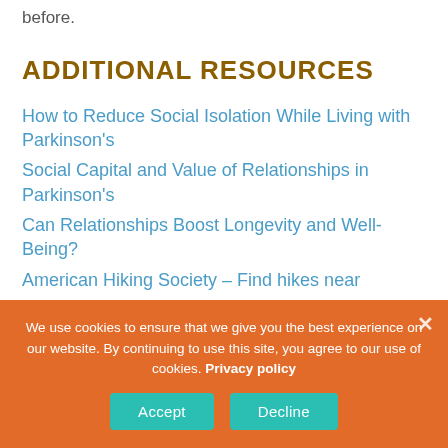before.
ADDITIONAL RESOURCES
How to Reduce Social Isolation While Living with Parkinson's
Social Capital and Value of Relationships in Parkinson's
Can Relationships Boost Longevity and Well-Being?
American Hiking Society – Find hikes near...
We use cookies to ensure that we give you the best experience on our website. By continuing to use this site, you agree to our use of cookies. Privacy policy
Accept | Decline